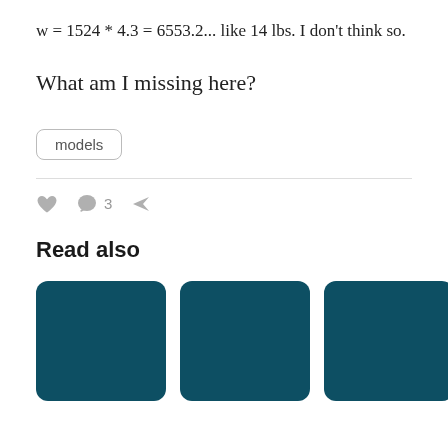w = 1524 * 4.3 = 6553.2... like 14 lbs. I don't think so.
What am I missing here?
models
3
Read also